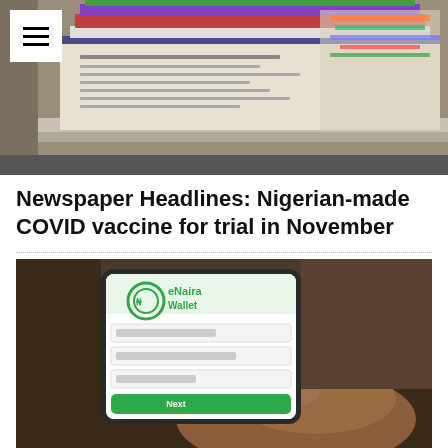[Figure (photo): Stack of colorful newspapers on a surface, close-up photo]
Newspaper Headlines: Nigerian-made COVID vaccine for trial in November
[Figure (photo): Person holding a smartphone showing the eNaira Wallet app with green logo and interface]
CBN unveils USSD code for eNaira transactions